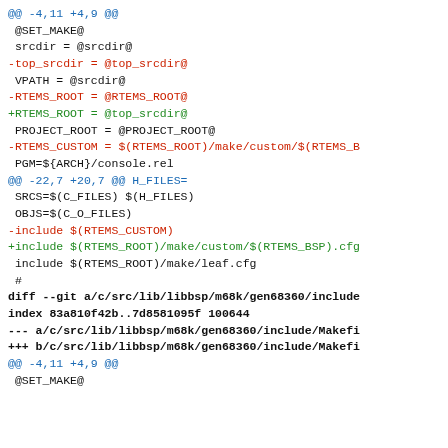@@ -4,11 +4,9 @@
@SET_MAKE@
 srcdir = @srcdir@
-top_srcdir = @top_srcdir@
 VPATH = @srcdir@
-RTEMS_ROOT = @RTEMS_ROOT@
+RTEMS_ROOT = @top_srcdir@
 PROJECT_ROOT = @PROJECT_ROOT@
-RTEMS_CUSTOM = $(RTEMS_ROOT)/make/custom/$(RTEMS_B
PGM=${ARCH}/console.rel
@@ -22,7 +20,7 @@ H_FILES=
 SRCS=$(C_FILES) $(H_FILES)
 OBJS=$(C_O_FILES)
-include $(RTEMS_CUSTOM)
+include $(RTEMS_ROOT)/make/custom/$(RTEMS_BSP).cfg
 include $(RTEMS_ROOT)/make/leaf.cfg
#
diff --git a/c/src/lib/libbsp/m68k/gen68360/include
index 83a810f42b..7d8581095f 100644
--- a/c/src/lib/libbsp/m68k/gen68360/include/Makefi
+++ b/c/src/lib/libbsp/m68k/gen68360/include/Makefi
@@ -4,11 +4,9 @@
@SET_MAKE@